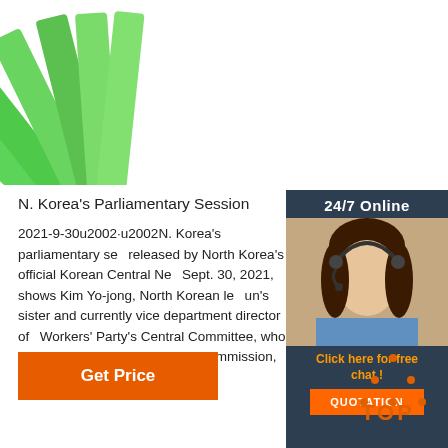[Figure (illustration): Fan-shaped arrangement of blue and green plastic tabs/clips spreading from lower-left to upper-right]
[Figure (photo): 24/7 Online chat advertisement panel with a smiling female customer service agent wearing a headset, orange QUOTATION button, and 'Click here for free chat!' text]
N. Korea's Parliamentary Session
2021-9-30u2002·u2002N. Korea's parliamentary session released by North Korea's official Korean Central Ne Sept. 30, 2021, shows Kim Yo-jong, North Korean le un's sister and currently vice department director of Workers' Party's Central Committee, who was elect of the State Affairs Commission, the country's ...
Get Price
[Figure (illustration): Orange TOP button with dotted triangle/arrow shape above the text TOP]